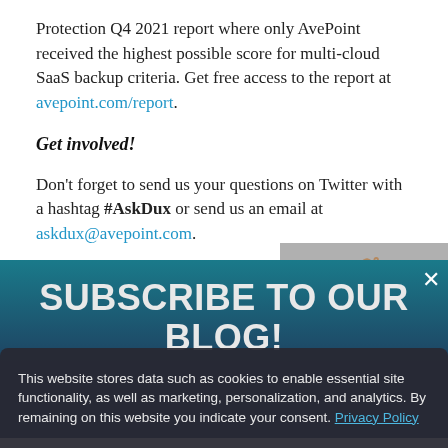Protection Q4 2021 report where only AvePoint received the highest possible score for multi-cloud SaaS backup criteria. Get free access to the report at avepoint.com/report.
Get involved!
Don't forget to send us your questions on Twitter with a hashtag #AskDux or send us an email at askdux@avepoint.com.
[Figure (screenshot): OptinMonster popup overlay with 'SUBSCRIBE TO OUR BLOG!' text on teal/dark gradient background with close button, and behind it faded text about Microsoft 365, SharePoint, and Microsoft Teams.]
This website stores data such as cookies to enable essential site functionality, as well as marketing, personalization, and analytics. By remaining on this website you indicate your consent. Privacy Policy